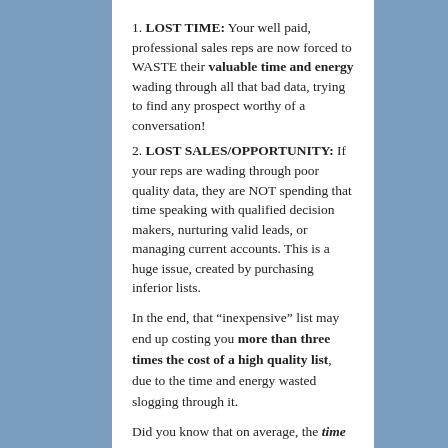1. LOST TIME: Your well paid, professional sales reps are now forced to WASTE their valuable time and energy wading through all that bad data, trying to find any prospect worthy of a conversation!
2. LOST SALES/OPPORTUNITY: If your reps are wading through poor quality data, they are NOT spending that time speaking with qualified decision makers, nurturing valid leads, or managing current accounts. This is a huge issue, created by purchasing inferior lists.
In the end, that “inexpensive” list may end up costing you more than three times the cost of a high quality list, due to the time and energy wasted slogging through it.
Did you know that on average, the time